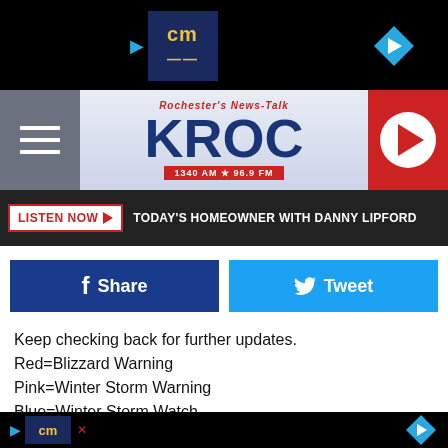[Figure (screenshot): Top advertisement bar with CM logo and navigation arrow on black background]
[Figure (logo): KROC Rochester's News-Talk radio station header with logo, hamburger menu, and play button. 1340 AM * 96.9 FM]
[Figure (screenshot): Dark bar with LISTEN NOW button and text: TODAY'S HOMEOWNER WITH DANNY LIPFORD]
[Figure (screenshot): Social share buttons: Facebook Share and Tweet]
Keep checking back for further updates.
Red=Blizzard Warning
Pink=Winter Storm Warning
Blue=Winter Storm Watch
[Figure (map): Weather map showing counties in Minnesota including Fergus Falls and Brainerd areas. Regions colored in yellow/tan (Winter Storm Warning area) and blue (Winter Storm Watch area).]
[Figure (screenshot): Bottom advertisement bar with CM logo and navigation arrow, partially visible text 'ard']